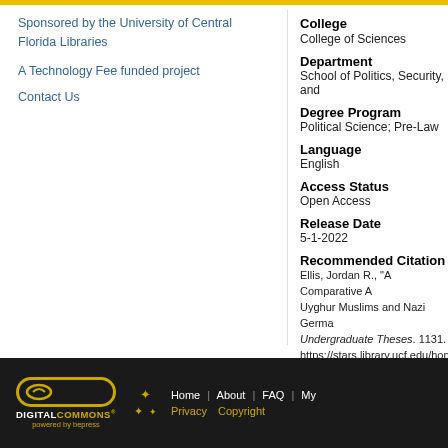Sponsored by the University of Central Florida Libraries
A Technology Fee funded project
Contact Us
College
College of Sciences
Department
School of Politics, Security, and
Degree Program
Political Science; Pre-Law
Language
English
Access Status
Open Access
Release Date
5-1-2022
Recommended Citation
Ellis, Jordan R., "A Comparative A Uyghur Muslims and Nazi Germa Undergraduate Theses. 1131. https://stars.library.ucf.edu/honors
Digital Commons powered by bepress | Home | About | FAQ | My | Privacy | Copyright